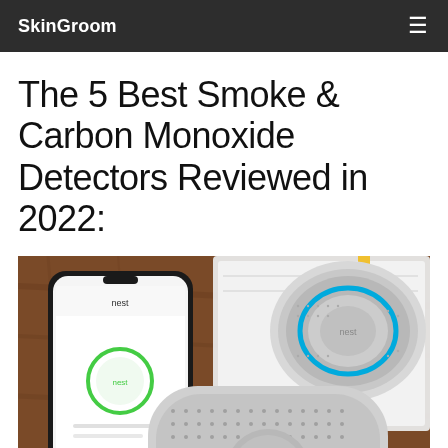SkinGroom
The 5 Best Smoke & Carbon Monoxide Detectors Reviewed in 2022:
[Figure (photo): Photo of Nest Protect smoke and carbon monoxide detectors alongside a smartphone showing the Nest app with a green status circle. Two round Nest Protect units (one with blue ring, one grey/white square-shaped) are placed on a wooden table next to an open book/white binder.]